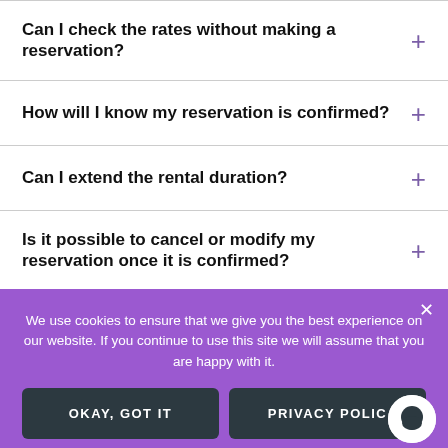Can I check the rates without making a reservation?
How will I know my reservation is confirmed?
Can I extend the rental duration?
Is it possible to cancel or modify my reservation once it is confirmed?
We use cookies to ensure that we give you the best experience on our website. If you continue to use this site we will assume that you are happy with it.
OKAY, GOT IT
PRIVACY POLIC